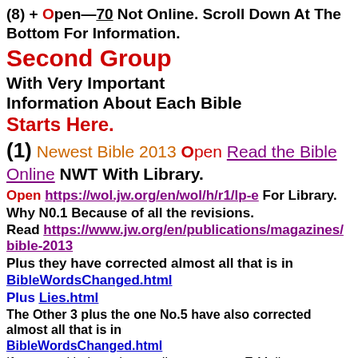(8) + Open—70 Not Online. Scroll Down At The Bottom For Information.
Second Group
With Very Important Information About Each Bible
Starts Here.
(1) Newest Bible 2013 Open Read the Bible Online NWT With Library.
Open https://wol.jw.org/en/wol/h/r1/lp-e For Library.
Why N0.1 Because of all the revisions.
Read https://www.jw.org/en/publications/magazines/bible-2013
Plus they have corrected almost all that is in BibleWordsChanged.html
Plus Lies.html
The Other 3 plus the one No.5 have also corrected almost all that is in BibleWordsChanged.html
If you need help understanding any verse E-Mail